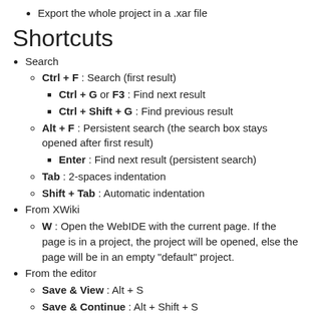Export the whole project in a .xar file
Shortcuts
Search
Ctrl + F : Search (first result)
Ctrl + G or F3 : Find next result
Ctrl + Shift + G : Find previous result
Alt + F : Persistent search (the search box stays opened after first result)
Enter : Find next result (persistent search)
Tab : 2-spaces indentation
Shift + Tab : Automatic indentation
From XWiki
W : Open the WebIDE with the current page. If the page is in a project, the project will be opened, else the page will be in an empty "default" project.
From the editor
Save & View : Alt + S
Save & Continue : Alt + Shift + S
Discard & View : Alt + C
View in a new tab : Alt + Shift + C. Your browser